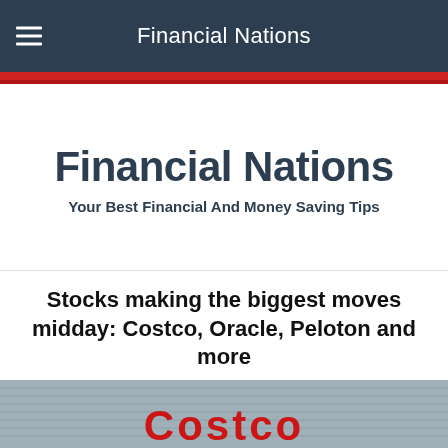Financial Nations
Financial Nations
Your Best Financial And Money Saving Tips
Stocks making the biggest moves midday: Costco, Oracle, Peloton and more
[Figure (photo): Exterior of a Costco warehouse store showing the Costco sign in red lettering on a corrugated metal building facade]